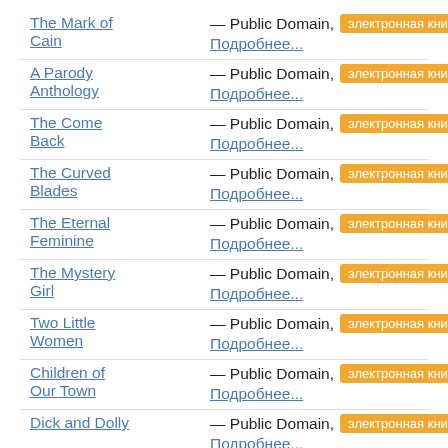The Mark of Cain — Public Domain, электронная книга Подробнее...
A Parody Anthology — Public Domain, электронная книга Подробнее...
The Come Back — Public Domain, электронная книга Подробнее...
The Curved Blades — Public Domain, электронная книга Подробнее...
The Eternal Feminine — Public Domain, электронная книга Подробнее...
The Mystery Girl — Public Domain, электронная книга Подробнее...
Two Little Women — Public Domain, электронная книга Подробнее...
Children of Our Town — Public Domain, электронная книга Подробнее...
Dick and Dolly — Public Domain, электронная книга Подробнее...